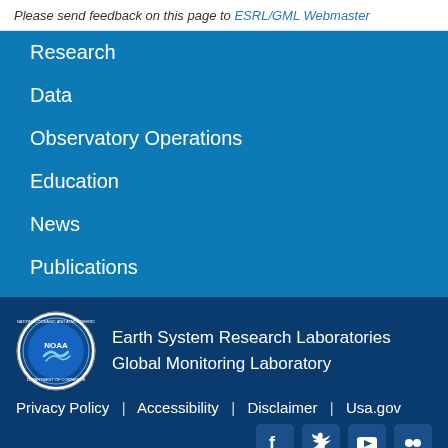Please send feedback on this page to ESRL/GML Webmaster
Research
Data
Observatory Operations
Education
News
Publications
[Figure (logo): NOAA circular seal logo]
Earth System Research Laboratories
Global Monitoring Laboratory
Privacy Policy  |  Accessibility  |  Disclaimer  |  Usa.gov